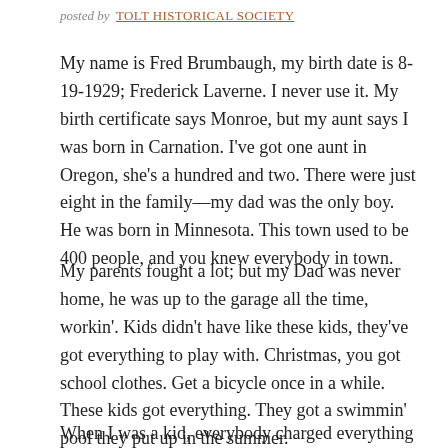posted by  TOLT HISTORICAL SOCIETY
My name is Fred Brumbaugh, my birth date is 8-19-1929; Frederick Laverne.  I never use it. My birth certificate says Monroe, but my aunt says I was born in Carnation.  I’ve got one aunt in Oregon, she’s a hundred and two.  There were just eight in the family—my dad was the only boy.  He was born in Minnesota.  This town used to be 400 people, and you knew everybody in town.
My parents fought a lot; but my Dad was never home, he was up to the garage all the time, workin’.  Kids didn’t have like these kids, they’ve got everything to play with.  Christmas, you got school clothes.  Get a bicycle once in a while.  These kids got everything.  They got a swimmin’ pool  they put up in the summer.
When I was a kid, everybody charged everything—the